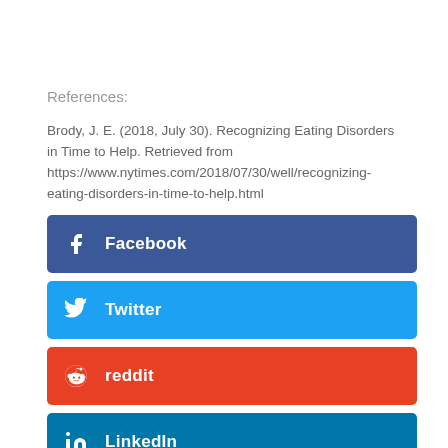References:
Brody, J. E. (2018, July 30). Recognizing Eating Disorders in Time to Help. Retrieved from https://www.nytimes.com/2018/07/30/well/recognizing-eating-disorders-in-time-to-help.html
[Figure (infographic): Social sharing buttons: Facebook, Twitter, Reddit, LinkedIn]
Facebook
Twitter
reddit
LinkedIn